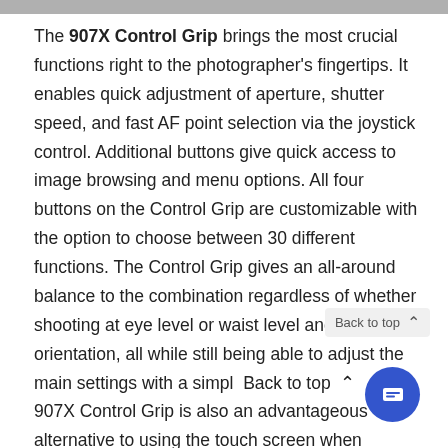The 907X Control Grip brings the most crucial functions right to the photographer's fingertips. It enables quick adjustment of aperture, shutter speed, and fast AF point selection via the joystick control. Additional buttons give quick access to image browsing and menu options. All four buttons on the Control Grip are customizable with the option to choose between 30 different functions. The Control Grip gives an all-around balance to the combination regardless of whether shooting at eye level or waist level and vertical orientation, all while still being able to adjust the main settings with a simple. 907X Control Grip is also an advantageous alternative to using the touch screen when shooting with gloves on in cold weather conditions.